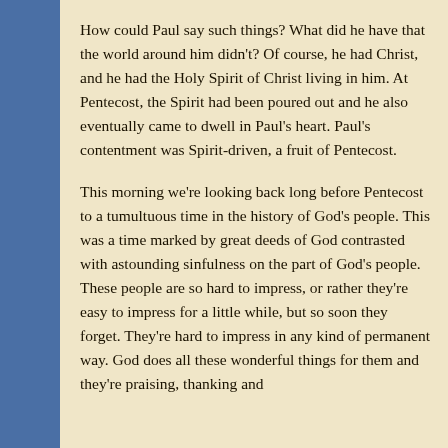How could Paul say such things?  What did he have that the world around him didn't?  Of course, he had Christ, and he had the Holy Spirit of Christ living in him.  At Pentecost, the Spirit had been poured out and he also eventually came to dwell in Paul's heart.  Paul's contentment was Spirit-driven, a fruit of Pentecost.
This morning we're looking back long before Pentecost to a tumultuous time in the history of God's people.  This was a time marked by great deeds of God contrasted with astounding sinfulness on the part of God's people.  These people are so hard to impress, or rather they're easy to impress for a little while, but so soon they forget.  They're hard to impress in any kind of permanent way.  God does all these wonderful things for them and they're praising, thanking and